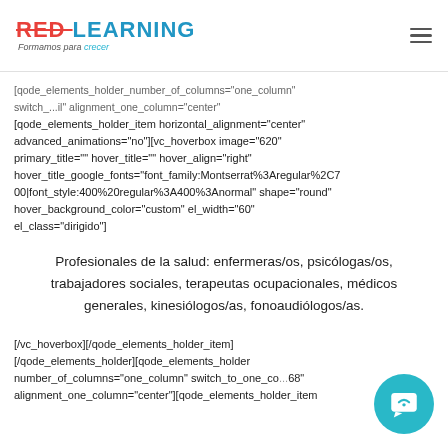RED LEARNING — Formamos para crecer
[qode_elements_holder_number_of_columns="one_column" switch_...il" alignment_one_column="center"][qode_elements_holder_item horizontal_alignment="center" advanced_animations="no"][vc_hoverbox image="620" primary_title="" hover_title="" hover_align="right" hover_title_google_fonts="font_family:Montserrat%3Aregular%2C700|font_style:400%20regular%3A400%3Anormal" shape="round" hover_background_color="custom" el_width="60" el_class="dirigido"]
Profesionales de la salud: enfermeras/os, psicólogas/os, trabajadores sociales, terapeutas ocupacionales, médicos generales, kinesiólogos/as, fonoaudiólogos/as.
[/vc_hoverbox][/qode_elements_holder_item][/qode_elements_holder][qode_elements_holder number_of_columns="one_column" switch_to_one_co...68" alignment_one_column="center"][qode_elements_holder_item